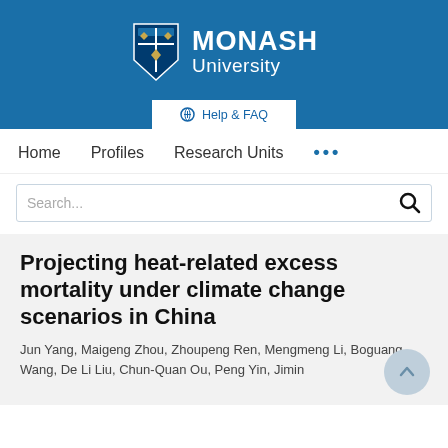[Figure (logo): Monash University logo: shield crest and MONASH University text in white on blue background]
Help & FAQ
Home   Profiles   Research Units   ...
Search...
Projecting heat-related excess mortality under climate change scenarios in China
Jun Yang, Maigeng Zhou, Zhoupeng Ren, Mengmeng Li, Boguang Wang, De Li Liu, Chun-Quan Ou, Peng Yin, Jimin